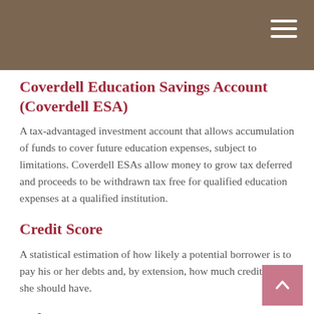Coverdell Education Savings Account (Coverdell ESA)
A tax-advantaged investment account that allows accumulation of funds to cover future education expenses, subject to limitations. Coverdell ESAs allow money to grow tax deferred and proceeds to be withdrawn tax free for qualified education expenses at a qualified institution.
Credit Score
A statistical estimation of how likely a potential borrower is to pay his or her debts and, by extension, how much credit he or she should have.
Debt
An obligation owed by one party (the debtor) to a